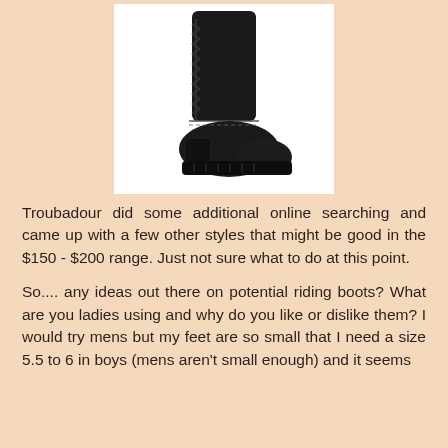[Figure (photo): A tall black leather riding boot with lug sole and decorative lacing detail on the back shaft, shown against a white background.]
Troubadour did some additional online searching and came up with a few other styles that might be good in the $150 - $200 range. Just not sure what to do at this point.
So.... any ideas out there on potential riding boots? What are you ladies using and why do you like or dislike them? I would try mens but my feet are so small that I need a size 5.5 to 6 in boys (mens aren't small enough) and it seems